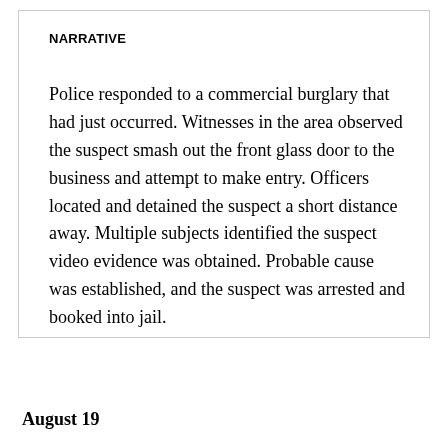NARRATIVE
Police responded to a commercial burglary that had just occurred. Witnesses in the area observed the suspect smash out the front glass door to the business and attempt to make entry. Officers located and detained the suspect a short distance away. Multiple subjects identified the suspect video evidence was obtained. Probable cause was established, and the suspect was arrested and booked into jail.
August 19